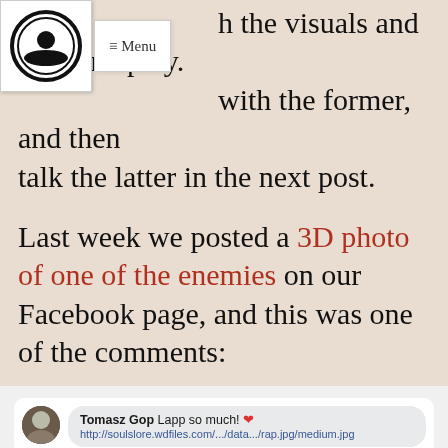h the visuals and the gameplay. with the former, and then talk the latter in the next post.
Last week we posted a 3D photo of one of the enemies on our Facebook page, and this was one of the comments:
[Figure (screenshot): Facebook comment screenshot showing Tomasz Gop commenting 'Lapp so much! ❤️' with a link to soulslore.wdfiles.com, including a preview image of armored figure. Actions: Like · Reply · Message · Remove Preview · 6d, with 1 like.]
Tomasz knows his stuff, he's the